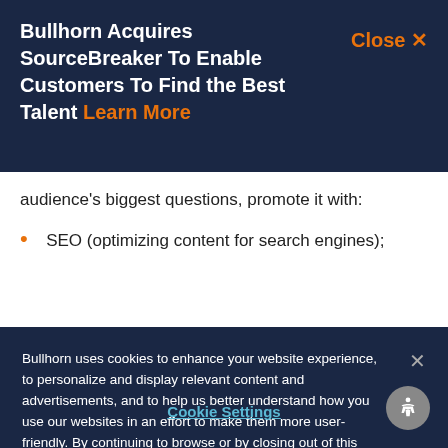Bullhorn Acquires SourceBreaker To Enable Customers To Find the Best Talent Learn More
audience’s biggest questions, promote it with:
SEO (optimizing content for search engines);
Bullhorn uses cookies to enhance your website experience, to personalize and display relevant content and advertisements, and to help us better understand how you use our websites in an effort to make them more user-friendly. By continuing to browse or by closing out of this message, you indicate your agreement. To set your own preferences, click “Cookie Settings” and you can learn more about the cookies we use by reviewing our cookie policy.
Cookie Settings